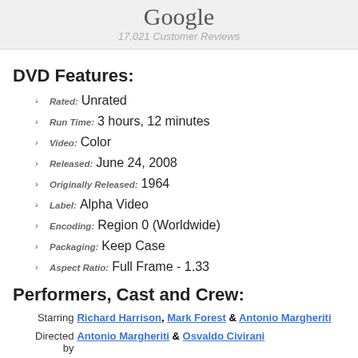Google
17,021 Customer Reviews
DVD Features:
Rated: Unrated
Run Time: 3 hours, 12 minutes
Video: Color
Released: June 24, 2008
Originally Released: 1964
Label: Alpha Video
Encoding: Region 0 (Worldwide)
Packaging: Keep Case
Aspect Ratio: Full Frame - 1.33
Performers, Cast and Crew:
Starring: Richard Harrison, Mark Forest & Antonio Margheriti
Directed by: Antonio Margheriti & Osvaldo Civirani